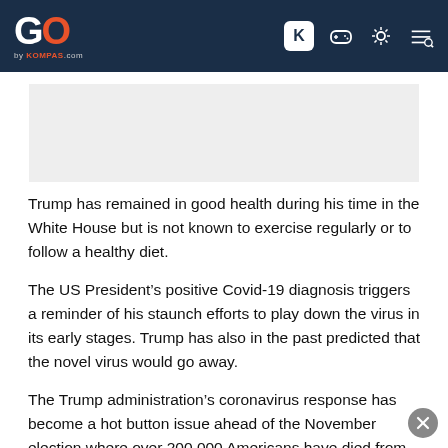GO by KOMPAS.com
[Figure (other): Advertisement placeholder banner]
Trump has remained in good health during his time in the White House but is not known to exercise regularly or to follow a healthy diet.
The US President’s positive Covid-19 diagnosis triggers a reminder of his staunch efforts to play down the virus in its early stages. Trump has also in the past predicted that the novel virus would go away.
The Trump administration’s coronavirus response has become a hot button issue ahead of the November election where over 200,000 Americans have died from Covid-19 in the US alone.